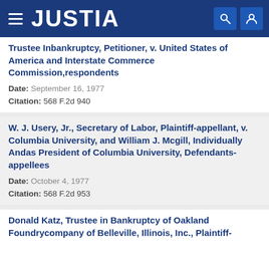JUSTIA
Trustee Inbankruptcy, Petitioner, v. United States of America and Interstate Commerce Commission,respondents
Date: September 16, 1977
Citation: 568 F.2d 940
W. J. Usery, Jr., Secretary of Labor, Plaintiff-appellant, v. Columbia University, and William J. Mcgill, Individually Andas President of Columbia University, Defendants-appellees
Date: October 4, 1977
Citation: 568 F.2d 953
Donald Katz, Trustee in Bankruptcy of Oakland Foundrycompany of Belleville, Illinois, Inc., Plaintiff-